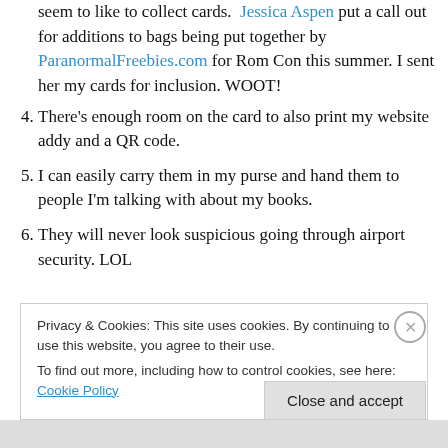seem to like to collect cards. Jessica Aspen put a call out for additions to bags being put together by ParanormalFreebies.com for Rom Con this summer. I sent her my cards for inclusion. WOOT!
4. There's enough room on the card to also print my website addy and a QR code.
5. I can easily carry them in my purse and hand them to people I'm talking with about my books.
6. They will never look suspicious going through airport security. LOL
Privacy & Cookies: This site uses cookies. By continuing to use this website, you agree to their use. To find out more, including how to control cookies, see here: Cookie Policy
Close and accept